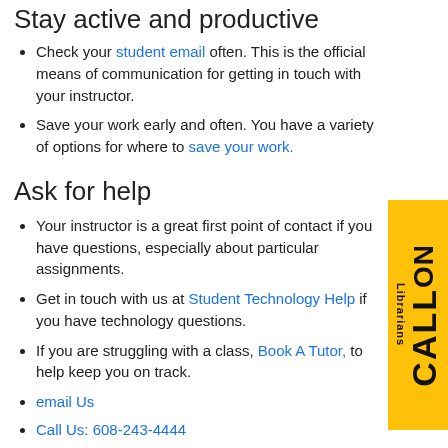Stay active and productive
Check your student email often. This is the official means of communication for getting in touch with your instructor.
Save your work early and often. You have a variety of options for where to save your work.
Ask for help
Your instructor is a great first point of contact if you have questions, especially about particular assignments.
Get in touch with us at Student Technology Help if you have technology questions.
If you are struggling with a class, Book A Tutor, to help keep you on track.
email Us
Call Us: 608-243-4444
Toll Free: 1-866-277-4445